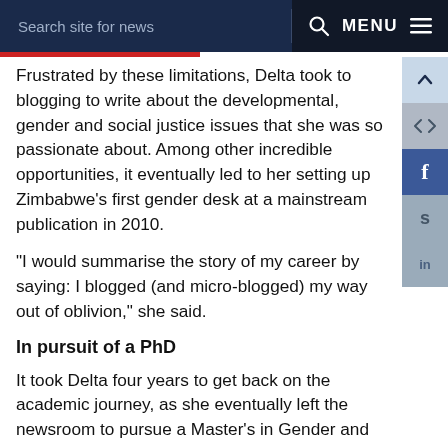Search site for news   MENU
Frustrated by these limitations, Delta took to blogging to write about the developmental, gender and social justice issues that she was so passionate about. Among other incredible opportunities, it eventually led to her setting up Zimbabwe's first gender desk at a mainstream publication in 2010.
“I would summarise the story of my career by saying: I blogged (and micro-blogged) my way out of oblivion,” she said.
In pursuit of a PhD
It took Delta four years to get back on the academic journey, as she eventually left the newsroom to pursue a Master’s in Gender and Media at the University of Sussex in the United Kingdom, having secured two merit-based scholarships.